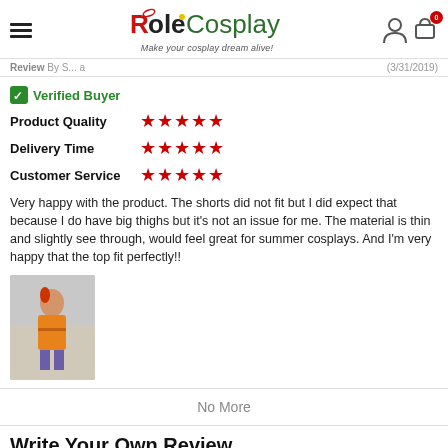RoleCosplay - Make your cosplay dream alive!
Review By S... (3/31/2019)
Verified Buyer
Product Quality ★★★★★
Delivery Time ★★★★★
Customer Service ★★★★★
Very happy with the product. The shorts did not fit but I did expect that because I do have big thighs but it's not an issue for me. The material is thin and slightly see through, would feel great for summer cosplays. And I'm very happy that the top fit perfectly!!
[Figure (photo): Photo of a person in a cosplay costume]
No More
Write Your Own Review
Only registered users can write reviews. Please, LOG IN or REGISTER